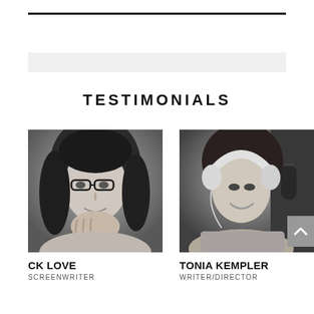TESTIMONIALS
[Figure (photo): Black and white portrait photo of CK Love, a woman with dark hair and glasses, resting her chin on her hand]
CK LOVE
SCREENWRITER
[Figure (photo): Black and white photo of Tonia Kempler, a woman smiling, wearing headphones and seated near a microphone]
TONIA KEMPLER
WRITER/DIRECTOR